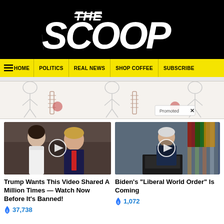The Scoop
HOME | POLITICS | REAL NEWS | SHOP COFFEE | SUBSCRIBE
[Figure (illustration): Promoted advertisement banner with sketch-style medical/anatomy illustration]
[Figure (photo): Thumbnail image of Trump and Melania with video play button overlay]
Trump Wants This Video Shared A Million Times — Watch Now Before It's Banned!
🔥 37,738
[Figure (photo): Thumbnail image of Biden at podium with video play button overlay]
Biden's "Liberal World Order" Is Coming
🔥 1,072